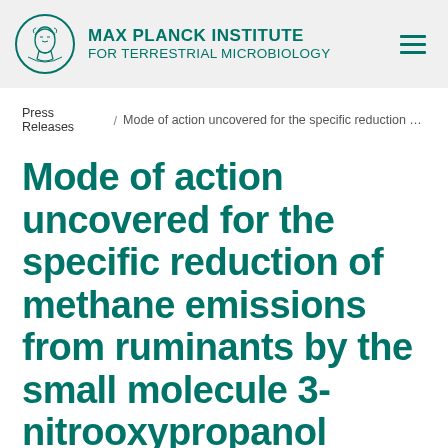[Figure (logo): Max Planck Institute for Terrestrial Microbiology logo with circular emblem showing Minerva figure and institution name in teal]
Press Releases / Mode of action uncovered for the specific reduction of ...
Mode of action uncovered for the specific reduction of methane emissions from ruminants by the small molecule 3-nitrooxypropanol